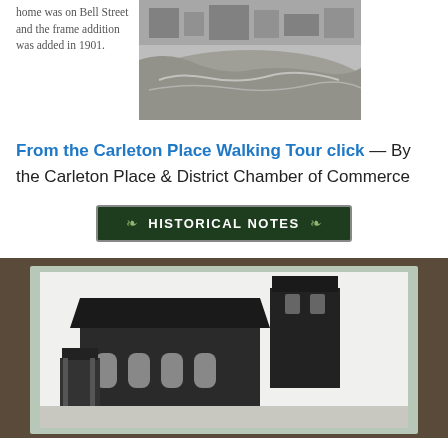home was on Bell Street and the frame addition was added in 1901.
[Figure (photo): Black and white photograph showing a flooded or icy riverbank with buildings and structures in the background.]
From the Carleton Place Walking Tour click — By the Carleton Place & District Chamber of Commerce
[Figure (illustration): Dark green button/banner graphic with decorative leaf motifs and bold white text reading 'HISTORICAL NOTES'.]
[Figure (photo): Black and white historical photograph of a church building with a bell tower, arched windows, and a smaller entry porch, displayed on a light green background.]